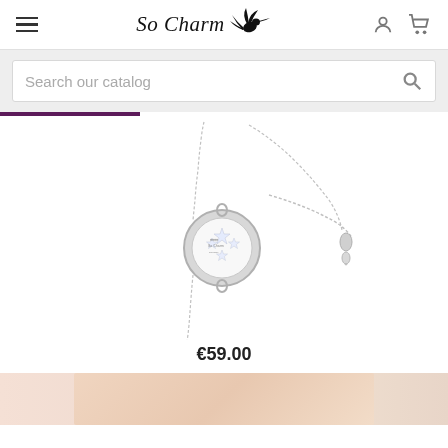So Charm (logo with hummingbird), menu icon, user icon, cart icon
Search our catalog
[Figure (photo): Silver bracelet with circular charm pendant containing crystal/rhinestone elements, adjustable box chain with small teardrop slider - product photo on white background]
€59.00
[Figure (photo): Partial view of a product or model image at the bottom of the page, warm peach/skin tones visible]